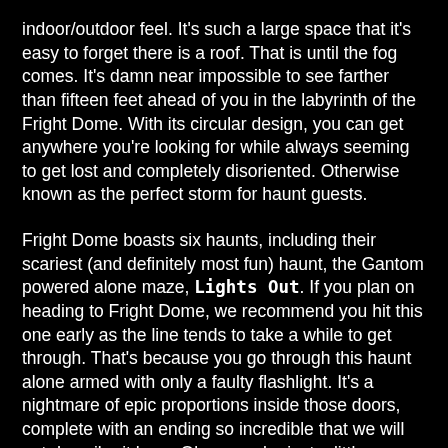indoor/outdoor feel. It's such a large space that it's easy to forget there is a roof. That is until the fog comes. It's damn near impossible to see farther than fifteen feet ahead of you in the labyrinth of the Fright Dome. With its circular design, you can get anywhere you're looking for while always seeming to get lost and completely disoriented. Otherwise known as the perfect storm for haunt guests.
Fright Dome boasts six haunts, including their scariest (and definitely most fun) haunt, the Gantom powered alone maze, Lights Out. If you plan on heading to Fright Dome, we recommend you hit this one early as the line tends to take a while to get through. That's because you go through this haunt alone armed with only a faulty flashlight. It's a nightmare of epic proportions inside those doors, complete with an ending so incredible that we will not describe it here. Okay, maybe just a little. Lights Out is like experiencing a virtual reality goggle experience but without the goggles. That maze alone is worth the admission of ticket price.